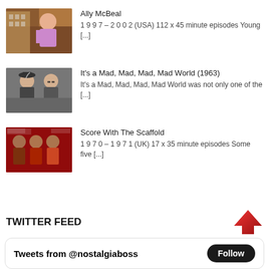[Figure (photo): Ally McBeal show image with a woman in pink jacket]
Ally McBeal
1 9 9 7 – 2 0 0 2 (USA) 112 x 45 minute episodes Young [...]
[Figure (photo): It's a Mad, Mad, Mad, Mad World movie still with two men]
It's a Mad, Mad, Mad, Mad World (1963)
It's a Mad, Mad, Mad, Mad World was not only one of the [...]
[Figure (photo): Score With The Scaffold show image with group of people]
Score With The Scaffold
1 9 7 0 – 1 9 7 1 (UK) 17 x 35 minute episodes Some five [...]
TWITTER FEED
Tweets from @nostalgiaboss Follow